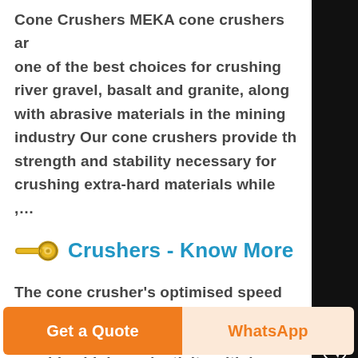Cone Crushers MEKA cone crushers are one of the best choices for crushing river gravel, basalt and granite, along with abrasive materials in the mining industry Our cone crushers provide the strength and stability necessary for crushing extra-hard materials while ,...
Crushers - Know More
The cone crusher's optimised speed and improved crushing chamber design provides high productivity with less wear on parts, meaning a great savings...
Get a Quote | WhatsApp